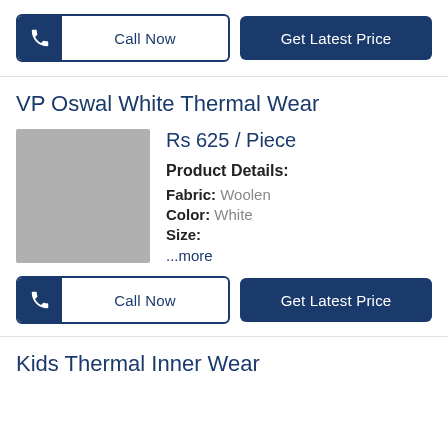[Figure (other): Call Now button with phone icon and Get Latest Price button, dark blue styling]
VP Oswal White Thermal Wear
[Figure (photo): Product image placeholder (gray square)]
Rs 625 / Piece
Product Details:
Fabric: Woolen
Color: White
Size:
...more
[Figure (other): Call Now button with phone icon and Get Latest Price button, dark blue styling]
Kids Thermal Inner Wear